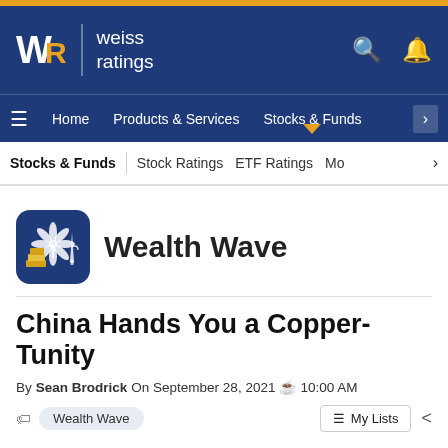Weiss Ratings
Stocks & Funds | Stock Ratings | ETF Ratings | Mo >
[Figure (logo): Wealth Wave logo icon — blue rounded square with cannabis leaf, oil derrick, and gold bars]
Wealth Wave
China Hands You a Copper-Tunity
By Sean Brodrick On September 28, 2021 10:00 AM
Wealth Wave
Copper has been beaten up lately, making it